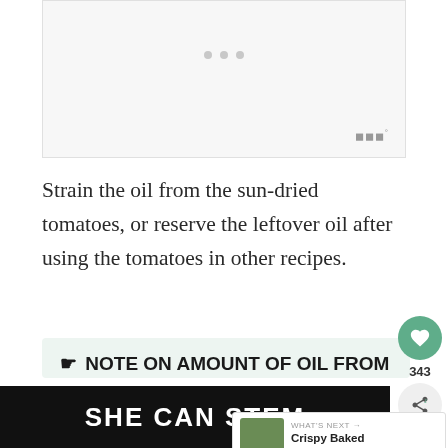[Figure (other): Advertisement placeholder box with three dots and a logo watermark]
Strain the oil from the sun-dried tomatoes, or reserve the leftover oil after using the tomatoes in other recipes.
🔔 NOTE ON AMOUNT OF OIL FROM SUN-DRIED TOMATO JARS:
We typically buy 8 ounce (227 grams) jars of sun-dried
[Figure (other): What's Next widget showing Crispy Baked Turnip Tops with thumbnail image]
[Figure (other): SHE CAN STEM advertisement banner at bottom]